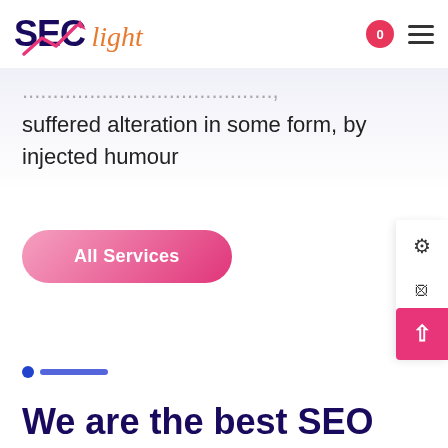[Figure (logo): SEClight logo with arrow graphic, SEC in dark navy bold, light in italic orange]
suffered alteration in some form, by injected humour
[Figure (other): All Services button with pink gradient]
[Figure (other): Side panel with settings, close, and cart icons]
[Figure (other): Scroll-to-top pink button with up arrow]
[Figure (other): Blue dot and line divider decoration]
We are the best SEO